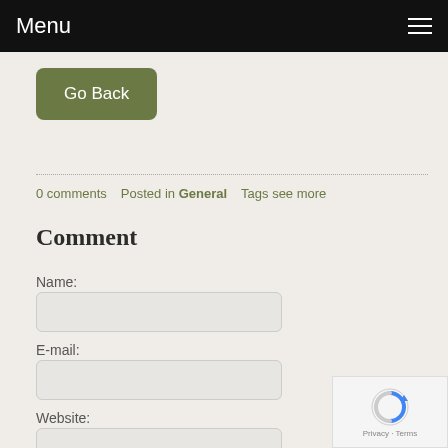Menu
Go Back
0 comments   Posted in General   Tags see more
Comment
Name:
E-mail:
Website:
Comment: